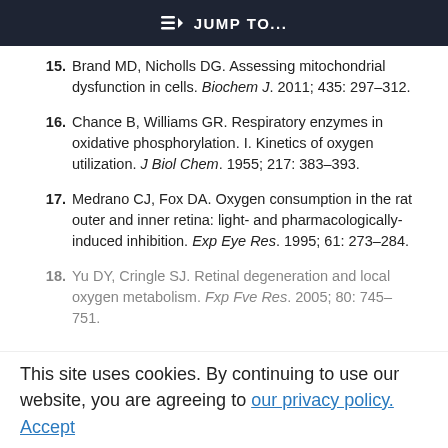JUMP TO...
15. Brand MD, Nicholls DG. Assessing mitochondrial dysfunction in cells. Biochem J. 2011; 435: 297–312.
16. Chance B, Williams GR. Respiratory enzymes in oxidative phosphorylation. I. Kinetics of oxygen utilization. J Biol Chem. 1955; 217: 383–393.
17. Medrano CJ, Fox DA. Oxygen consumption in the rat outer and inner retina: light- and pharmacologically-induced inhibition. Exp Eye Res. 1995; 61: 273–284.
18. Yu DY, Cringle SJ. Retinal degeneration and local oxygen metabolism. Exp Eye Res. 2005; 80: 745–751.
This site uses cookies. By continuing to use our website, you are agreeing to our privacy policy. Accept